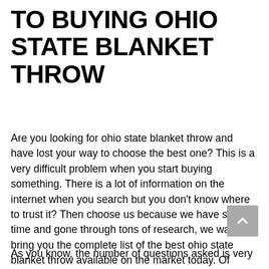TO BUYING OHIO STATE BLANKET THROW
Are you looking for ohio state blanket throw and have lost your way to choose the best one? This is a very difficult problem when you start buying something. There is a lot of information on the internet when you search but you don't know where to trust it? Then choose us because we have spent time and gone through tons of research, we want to bring you the complete list of the best ohio state blanket throw available on the market today. Of course, we have taken into account the problems and questions you have to answer when choosing the best ohio state blanket throw.
As you know, the number of questions asked is very